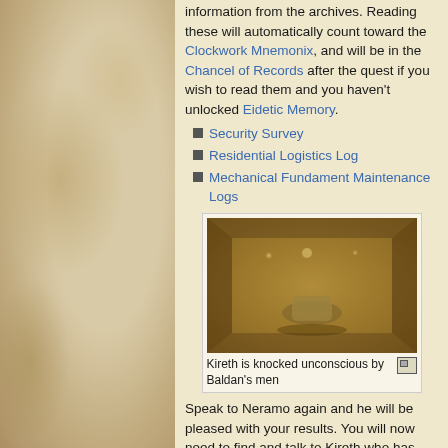information from the archives. Reading these will automatically count toward the Clockwork Mnemonix, and will be in the Chancel of Records after the quest if you wish to read them and you haven't unlocked Eidetic Memory.
Security Survey
Residential Logistics Log
Mechanical Fundament Maintenance Logs
[Figure (photo): Kireth is knocked unconscious by Baldan's men — a dimly lit scene viewed from above, showing a figure on a floor with warm golden-brown tones]
Kireth is knocked unconscious by Baldan's men
Speak to Neramo again and he will be pleased with your results. You will now need to find and talk to Kireth who has decided to gain evidence of Constable Baldan's